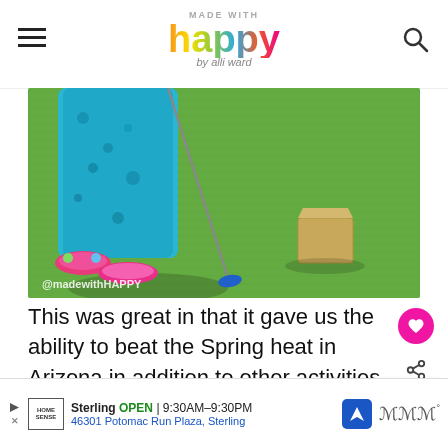MADE WITH happy by alli ward
[Figure (photo): Child in blue floral outfit holding a mini golf club on artificial green turf, with a white/tan obstacle in the background. Watermark @madewithHAPPY visible at bottom left.]
This was great in that it gave us the ability to beat the Spring heat in Arizona in addition to other activities for kids with active families. *** hand raised
[Figure (other): WHAT'S NEXT – Winter Break Activities promo widget with circular thumbnail]
[Figure (other): Advertisement bar: Sterling OPEN 9:30AM–9:30PM, 46301 Potomac Run Plaza, Sterling. Home Sense logo, navigation icon, weather icon.]